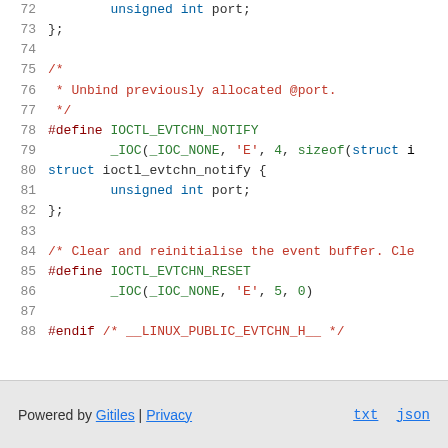[Figure (screenshot): Source code viewer showing C header file lines 72-88 with syntax highlighting. Lines show struct fields, #define macros for IOCTL_EVTCHN_NOTIFY and IOCTL_EVTCHN_RESET, and a closing #endif directive.]
Powered by Gitiles | Privacy    txt  json